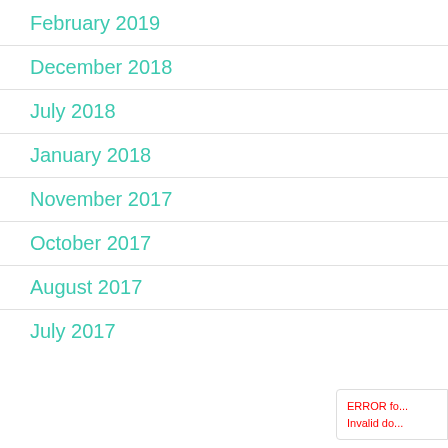February 2019
December 2018
July 2018
January 2018
November 2017
October 2017
August 2017
July 2017
ERROR fo... Invalid do...